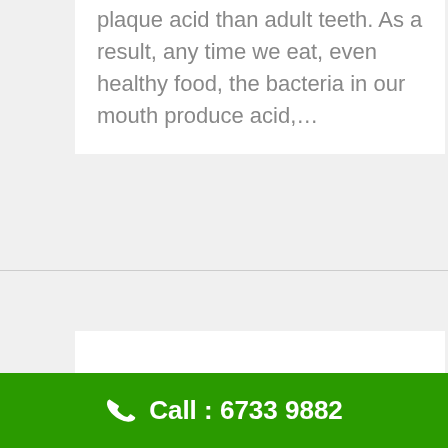plaque acid than adult teeth. As a result, any time we eat, even healthy food, the bacteria in our mouth produce acid,…
[Figure (other): White blank card/image area below the text block]
Call : 6733 9882